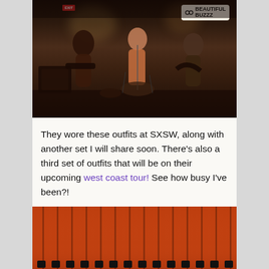[Figure (photo): Band performing on stage at SXSW with Beautiful Buzzz sign in background. Multiple musicians with guitars and drums visible in dark venue.]
They wore these outfits at SXSW, along with another set I will share soon. There's also a third set of outfits that will be on their upcoming west coast tour! See how busy I've been?!
[Figure (photo): Close-up of orange/rust colored fabric or textile with black clasps or buttons hanging from it.]